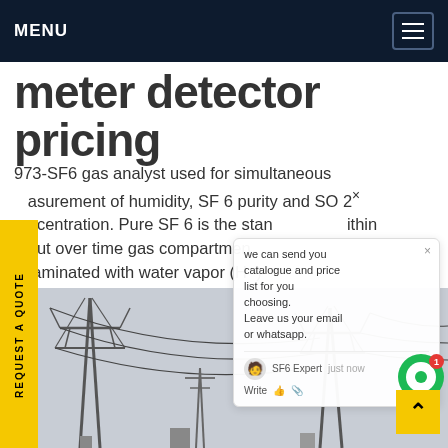MENU
meter detector pricing
973-SF6 gas analyst used for simultaneous measurement of humidity, SF 6 purity and SO 2 concentration. Pure SF 6 is the standard within but over time gas compartments taminated with water vapor (H2) meation and by desorption from terials. Whilst water vapor and mally react with each other, in the of a n-energyGet price
[Figure (screenshot): Chat popup overlay showing message: 'we can send you catalogue and price list for you choosing. Leave us your email or whatsapp.' with SF6 Expert avatar and write field]
[Figure (photo): High voltage power transmission towers/pylons against a grey sky, bottom portion of page]